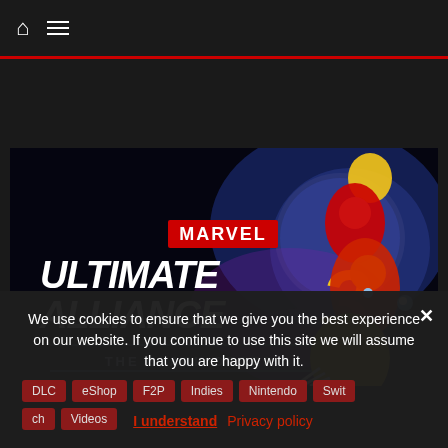Navigation bar with home icon and menu icon
Read more
[Figure (illustration): Marvel Ultimate Alliance 3: The Black Order game promotional image showing the game logo on the left and Marvel superheroes (Spider-Man, Iron Man, Wolverine, Captain Marvel) on the right against a dark blue background]
We use cookies to ensure that we give you the best experience on our website. If you continue to use this site we will assume that you are happy with it.
DLC
eShop
F2P
Indies
Nintendo
Switch
ch
Videos
I understand  Privacy policy